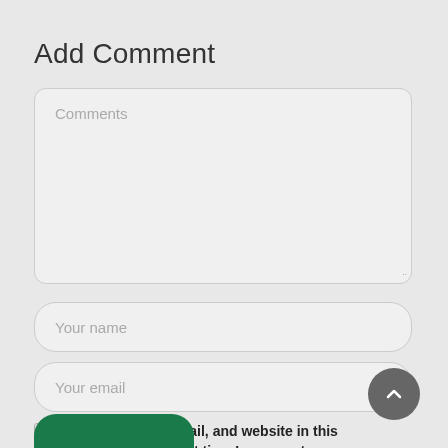Add Comment
[Figure (screenshot): Comments textarea input box with placeholder text 'Comments' and resize handle]
[Figure (screenshot): Your name text input field with rounded borders]
[Figure (screenshot): Your email text input field with rounded borders]
Save my name, email, and website in this browser for the next time I comment.
[Figure (other): Scroll to top circular button with upward chevron arrow]
[Figure (other): Green submit button partially visible at bottom]